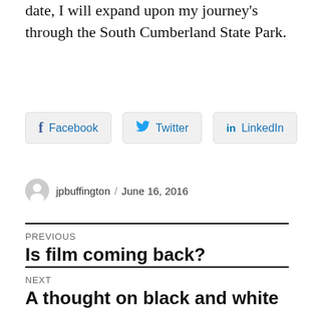date, I will expand upon my journey's through the South Cumberland State Park.
[Figure (other): Social share buttons: Facebook, Twitter, LinkedIn]
jpbuffington / June 16, 2016
PREVIOUS
Is film coming back?
NEXT
A thought on black and white photography